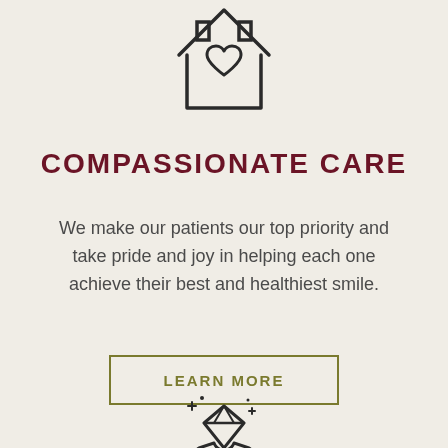[Figure (illustration): Line art icon of a house/home shape with a heart inside it, centered at top of page]
COMPASSIONATE CARE
We make our patients our top priority and take pride and joy in helping each one achieve their best and healthiest smile.
LEARN MORE
[Figure (illustration): Line art icon of hands holding a sparkling diamond gem, partially visible at bottom of page]